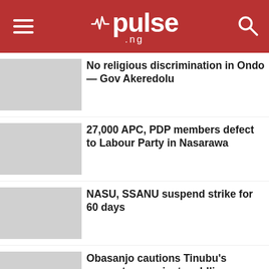pulse.ng
No religious discrimination in Ondo — Gov Akeredolu
27,000 APC, PDP members defect to Labour Party in Nasarawa
NASU, SSANU suspend strike for 60 days
Obasanjo cautions Tinubu's supporters against peddling